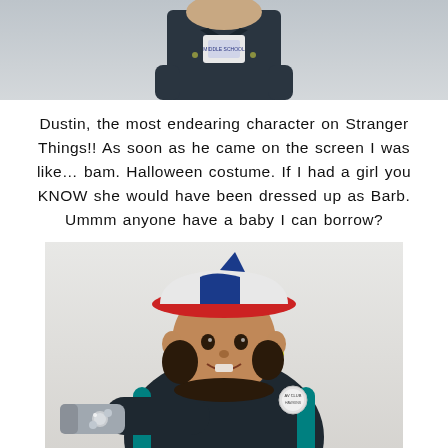[Figure (photo): Top portion of a child dressed in a Dustin from Stranger Things costume, wearing a dark jacket and a graphic t-shirt, cropped at the waist]
Dustin, the most endearing character on Stranger Things!! As soon as he came on the screen I was like… bam. Halloween costume. If I had a girl you KNOW she would have been dressed up as Barb. Ummm anyone have a baby I can borrow?
[Figure (photo): A toddler dressed as Dustin from Stranger Things, wearing a red and white trucker hat, dark jacket with a badge pin, teal backpack straps, and pointing a silver flashlight toward the camera. Light grey background.]